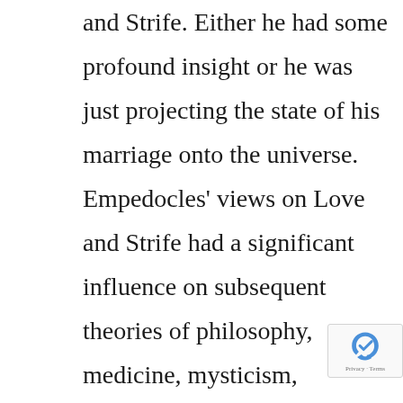and Strife. Either he had some profound insight or he was just projecting the state of his marriage onto the universe. Empedocles' views on Love and Strife had a significant influence on subsequent theories of philosophy, medicine, mysticism, cosmology, and religion.4

Empedocles was the last Greek philosopher to write his philosophy in epic verse.5 Of all of the ancient Presocratic philosophers, his fragments are the most